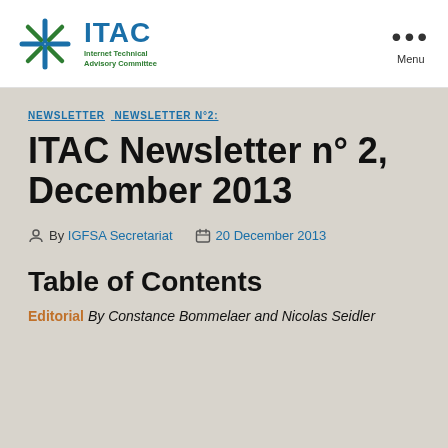ITAC Internet Technical Advisory Committee | Menu
NEWSLETTER  NEWSLETTER N°2:
ITAC Newsletter n° 2, December 2013
By IGFSA Secretariat   20 December 2013
Table of Contents
Editorial By Constance Bommelaer and Nicolas Seidler